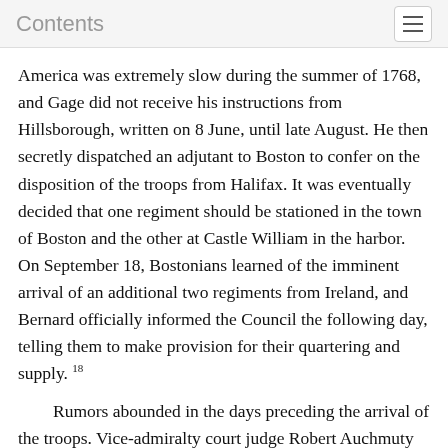Contents
America was extremely slow during the summer of 1768, and Gage did not receive his instructions from Hillsborough, written on 8 June, until late August. He then secretly dispatched an adjutant to Boston to confer on the disposition of the troops from Halifax. It was eventually decided that one regiment should be stationed in the town of Boston and the other at Castle William in the harbor. On September 18, Bostonians learned of the imminent arrival of an additional two regiments from Ireland, and Bernard officially informed the Council the following day, telling them to make provision for their quartering and supply. 18

Rumors abounded in the days preceding the arrival of the troops. Vice-admiralty court judge Robert Auchmuty warned Hutchinson his life was in danger. There was talk of an attack on Castle William, and many expected the townspeople to forcibly resist the landing of the